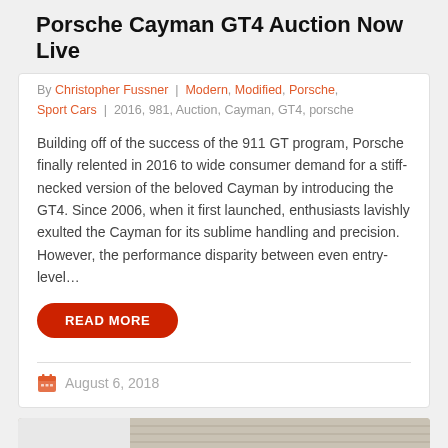Porsche Cayman GT4 Auction Now Live
By Christopher Fussner | Modern, Modified, Porsche, Sport Cars | 2016, 981, Auction, Cayman, GT4, porsche
Building off of the success of the 911 GT program, Porsche finally relented in 2016 to wide consumer demand for a stiff-necked version of the beloved Cayman by introducing the GT4. Since 2006, when it first launched, enthusiasts lavishly exulted the Cayman for its sublime handling and precision. However, the performance disparity between even entry-level…
READ MORE
August 6, 2018
[Figure (photo): Rear view of a blue Porsche Cayman GT4 with a large rear wing, parked in front of corrugated metal garage doors]